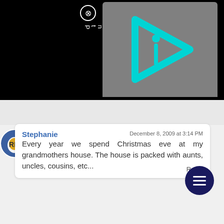[Figure (screenshot): Black banner with InstantP vertical text and a gray box containing a cyan play-button style logo (triangle with 'i' inside)]
Stephanie
December 8, 2009 at 3:14 PM
Every year we spend Christmas eve at my grandmothers house. The house is packed with aunts, uncles, cousins, etc...
Reply